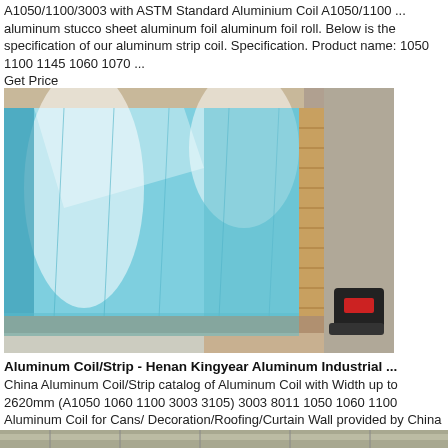A1050/1100/3003 with ASTM Standard Aluminium Coil A1050/1100 ... aluminum stucco sheet aluminum foil aluminum foil roll. Below is the specification of our aluminum strip coil. Specification. Product name: 1050 1100 1145 1060 1070 ...
Get Price
[Figure (photo): Stack of blue-film-coated aluminum sheets/coils on a warehouse floor, showing layered aluminum sheets with reflective blue protective film on top.]
Aluminum Coil/Strip - Henan Kingyear Aluminum Industrial ...
China Aluminum Coil/Strip catalog of Aluminum Coil with Width up to 2620mm (A1050 1060 1100 3003 3105) 3003 8011 1050 1060 1100 Aluminum Coil for Cans/ Decoration/Roofing/Curtain Wall provided by China manufacturer - Henan Kingyear Aluminum Industrial Co. Ltd. page1.
Get Price
[Figure (photo): Partial view of aluminum coils/strips in a warehouse setting at the bottom of the page.]